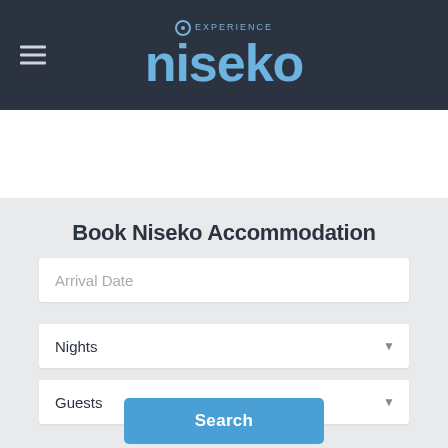Experience Niseko
Book Niseko Accommodation
Arrival Date
Nights
Guests
Search